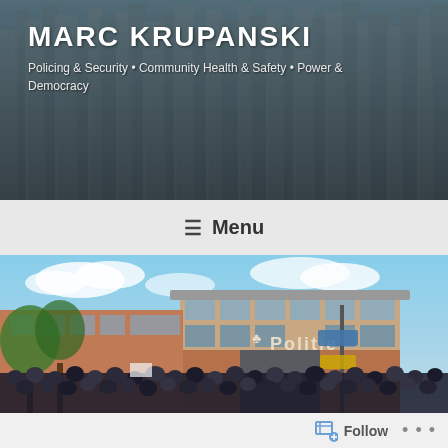MARC KRUPANSKI
Policing & Security • Community Health & Safety • Power & Democracy
☰ Menu
[Figure (photo): Protest crowd in front of a Politie (Dutch police) station building. Crowd of demonstrators filling the street, red smoke flare visible, brick and glass building with 'Politie' sign prominent in center, blue sky with clouds above.]
Follow •••